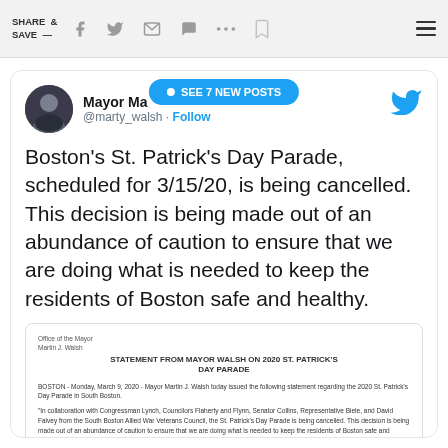SHARE & SAVE —
[Figure (screenshot): Twitter/social share icons in header bar: Facebook, Twitter, email, chat, more, bookmark, hamburger menu]
[Figure (screenshot): Tweet card from Mayor Marty Walsh (@marty_walsh) with SEE 7 NEW POSTS badge, avatar photo, Twitter bird icon, tweet text about Boston St. Patrick's Day Parade cancellation, and embedded official statement document]
Boston's St. Patrick's Day Parade, scheduled for 3/15/20, is being cancelled. This decision is being made out of an abundance of caution to ensure that we are doing what is needed to keep the residents of Boston safe and healthy.
[Figure (screenshot): Embedded document: Office of the Mayor Martin J. Walsh - STATEMENT FROM MAYOR WALSH ON 2020 ST. PATRICK'S DAY PARADE. BOSTON - Monday, March 9, 2020 - Mayor Martin J. Walsh today issued the following statement regarding the 2020 St. Patrick's Day Parade in South Boston. Paragraphs about collaboration with Congressman Lynch, Councilors Flaherty and Flynn, Senator Collins, Representative Biele, and David Falvey, cancellation decision, and risk monitoring.]